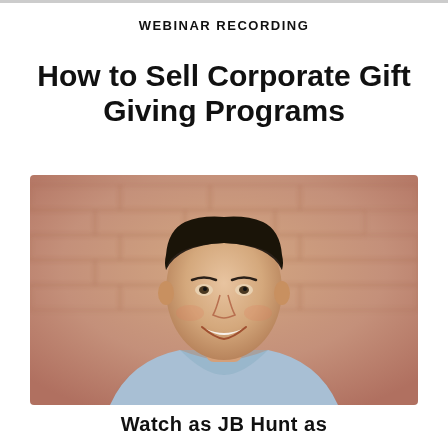WEBINAR RECORDING
How to Sell Corporate Gift Giving Programs
[Figure (photo): Professional headshot of a smiling middle-aged man in a light blue dress shirt, with a blurred brick wall background]
Watch as JB Hunt as